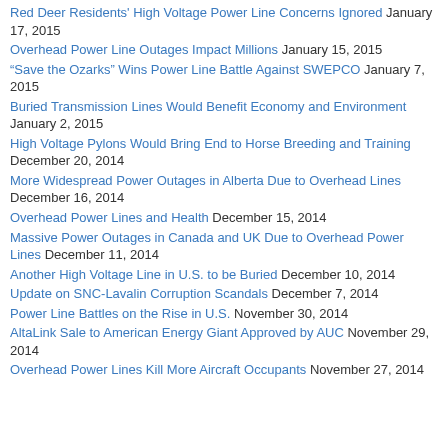Red Deer Residents' High Voltage Power Line Concerns Ignored January 17, 2015
Overhead Power Line Outages Impact Millions January 15, 2015
“Save the Ozarks” Wins Power Line Battle Against SWEPCO January 7, 2015
Buried Transmission Lines Would Benefit Economy and Environment January 2, 2015
High Voltage Pylons Would Bring End to Horse Breeding and Training December 20, 2014
More Widespread Power Outages in Alberta Due to Overhead Lines December 16, 2014
Overhead Power Lines and Health December 15, 2014
Massive Power Outages in Canada and UK Due to Overhead Power Lines December 11, 2014
Another High Voltage Line in U.S. to be Buried December 10, 2014
Update on SNC-Lavalin Corruption Scandals December 7, 2014
Power Line Battles on the Rise in U.S. November 30, 2014
AltaLink Sale to American Energy Giant Approved by AUC November 29, 2014
Overhead Power Lines Kill More Aircraft Occupants November 27, 2014